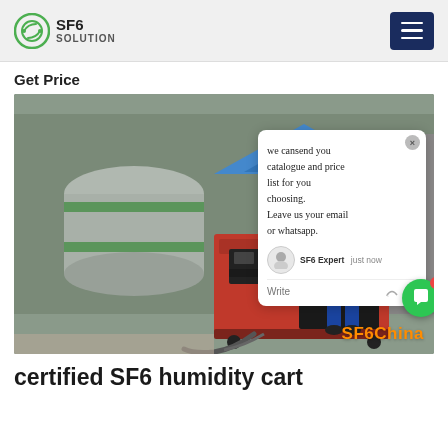SF6 SOLUTION
Get Price
[Figure (photo): A worker in blue coveralls and blue hard hat standing next to a large red and black SF6 gas cart/equipment unit outdoors at an industrial facility. Large cylindrical gas tanks visible in the background. Blue tent visible. Chat popup overlay visible on right side. SF6China watermark in orange at bottom right.]
certified SF6 humidity cart